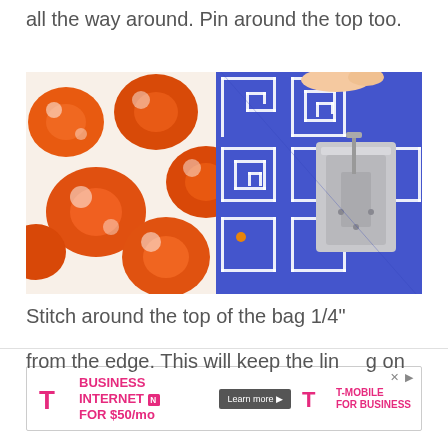all the way around. Pin around the top too.
[Figure (photo): Close-up photo of a sewing machine stitching two fabrics together: an orange floral print fabric on the left and a blue/white geometric Greek key pattern fabric on the right. The silver sewing machine presser foot is visible in the upper right.]
Stitch around the top of the bag 1/4" from the edge. This will keep the lining on the bag on the
[Figure (other): T-Mobile for Business advertisement banner: 'BUSINESS INTERNET FOR $50/mo' with T-Mobile magenta logo, Learn more button, and T-Mobile for Business text.]